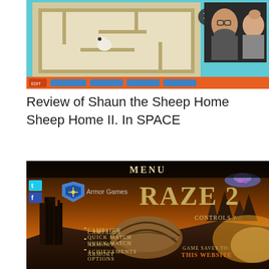[Figure (screenshot): Screenshot of a browser window showing Shaun the Sheep Home Sheep Home II game with a sheep character on a puzzle map, and a webcam feed of two people in the corner. Browser toolbar visible at bottom of screenshot.]
Review of Shaun the Sheep Home Sheep Home II. In SPACE
[Figure (screenshot): Screenshot of the Raze 2 game menu screen. Shows 'Menu' at top, Armor Games logo and 'Raze 2' title, post-apocalyptic desert landscape with destroyed buildings and glowing sky. Menu options listed: Campaign, Quick Match, Armory, Achievements, Options, Credits, Play More Games, Play Raze 1. 'Controls ?' button in upper right. 'Game saves to: This Website' and 'Armor Games enabled Login now' in lower right.]